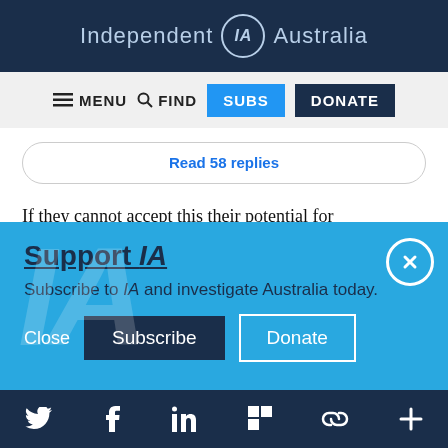Independent IA Australia
≡ MENU  🔍 FIND  SUBS  DONATE
Read 58 replies
If they cannot accept this their potential for
Support IA
Subscribe to IA and investigate Australia today.
Close  Subscribe  Donate
Twitter  Facebook  LinkedIn  Flipboard  Link  More